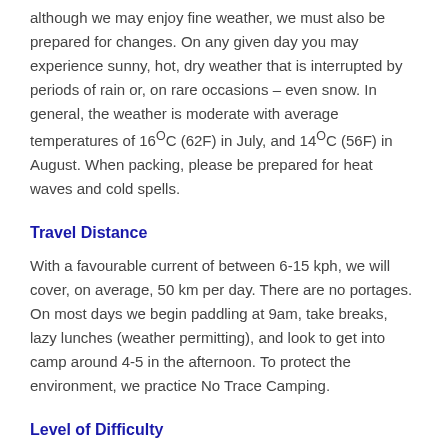although we may enjoy fine weather, we must also be prepared for changes. On any given day you may experience sunny, hot, dry weather that is interrupted by periods of rain or, on rare occasions – even snow. In general, the weather is moderate with average temperatures of 16°C (62F) in July, and 14°C (56F) in August. When packing, please be prepared for heat waves and cold spells.
Travel Distance
With a favourable current of between 6-15 kph, we will cover, on average, 50 km per day. There are no portages. On most days we begin paddling at 9am, take breaks, lazy lunches (weather permitting), and look to get into camp around 4-5 in the afternoon. To protect the environment, we practice No Trace Camping.
Level of Difficulty
The rivers have little serious water, most of which can be